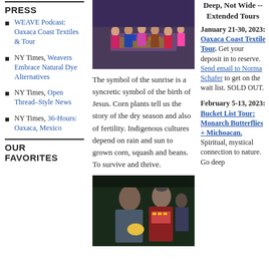PRESS
WEAVE Podcast: Oaxaca Coast Textiles & Tour
NY Times, Weavers Embrace Natural Dye Alternatives
NY Times, Open Thread–Style News
NY Times, 36-Hours: Oaxaca, Mexico
OUR FAVORITES
[Figure (photo): Group of women in colorful traditional dress around a table with textiles and blue dye pigments]
The symbol of the sunrise is a syncretic symbol of the birth of Jesus. Corn plants tell us the story of the dry season and also of fertility. Indigenous cultures depend on rain and sun to grown corn, squash and beans. To survive and thrive.
[Figure (photo): A man and woman at night, the man holding a yellow fruit or gourd, the woman wearing traditional embroidered clothing]
Deep, Not Wide -- Extended Tours
January 21-30, 2023: Oaxaca Coast Textile Tour. Get your deposit in to reserve. Send email to Norma Schafer to get on the wait list. SOLD OUT.
February 5-13, 2023: Bucket List Tour: Monarch Butterflies + Michoacan. Spiritual, mystical connection to nature. Go deep